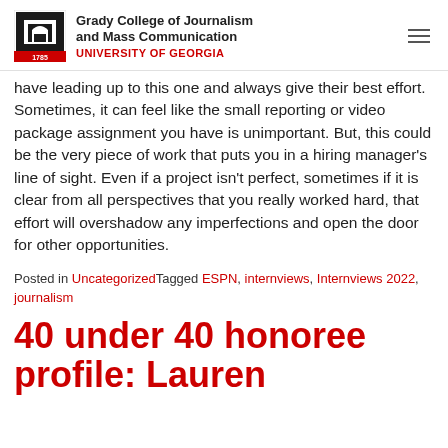Grady College of Journalism and Mass Communication UNIVERSITY OF GEORGIA
have leading up to this one and always give their best effort. Sometimes, it can feel like the small reporting or video package assignment you have is unimportant. But, this could be the very piece of work that puts you in a hiring manager's line of sight. Even if a project isn't perfect, sometimes if it is clear from all perspectives that you really worked hard, that effort will overshadow any imperfections and open the door for other opportunities.
Posted in UncategorizedTagged ESPN, internviews, Internviews 2022, journalism
40 under 40 honoree profile: Lauren